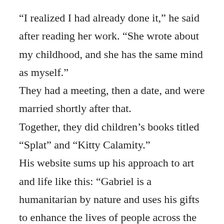“I realized I had already done it,” he said after reading her work. “She wrote about my childhood, and she has the same mind as myself.” They had a meeting, then a date, and were married shortly after that. Together, they did children’s books titled “Splat” and “Kitty Calamity.” His website sums up his approach to art and life like this: “Gabriel is a humanitarian by nature and uses his gifts to enhance the lives of people across the country. From donating paintings to charity auctions to muraling homeless shelters and church nurseries, if he can help, he will. He sees the light all around him and brings this light